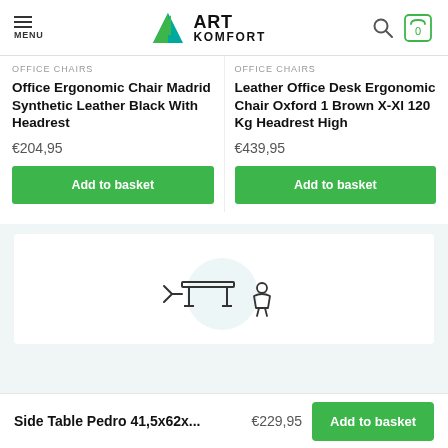ART KOMFORT — MENU header with logo, search, and cart icons
OFFICE CHAIRS
Office Ergonomic Chair Madrid Synthetic Leather Black With Headrest
€204,95
Add to basket
OFFICE CHAIRS
Leather Office Desk Ergonomic Chair Oxford 1 Brown X-Xl 120 Kg Headrest High
€439,95
Add to basket
[Figure (illustration): Product card with a delivery/furniture icon (line art of a side table with a cart/truck icon)]
Side Table Pedro 41,5x62x...   €229,95   Add to basket